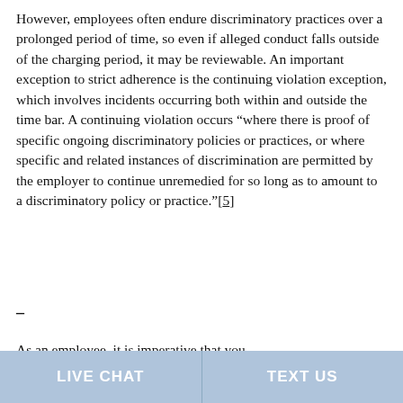However, employees often endure discriminatory practices over a prolonged period of time, so even if alleged conduct falls outside of the charging period, it may be reviewable. An important exception to strict adherence is the continuing violation exception, which involves incidents occurring both within and outside the time bar. A continuing violation occurs “where there is proof of specific ongoing discriminatory policies or practices, or where specific and related instances of discrimination are permitted by the employer to continue unremedied for so long as to amount to a discriminatory policy or practice.”[5]
–
As an employee, it is imperative that you
LIVE CHAT   TEXT US